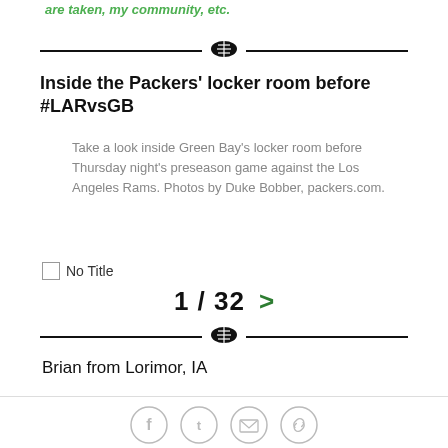are taken, my community, etc.
Inside the Packers' locker room before #LARvsGB
Take a look inside Green Bay's locker room before Thursday night's preseason game against the Los Angeles Rams. Photos by Duke Bobber, packers.com.
No Title
1 / 32
Brian from Lorimor, IA
Social share icons: Facebook, Twitter, Email, Link